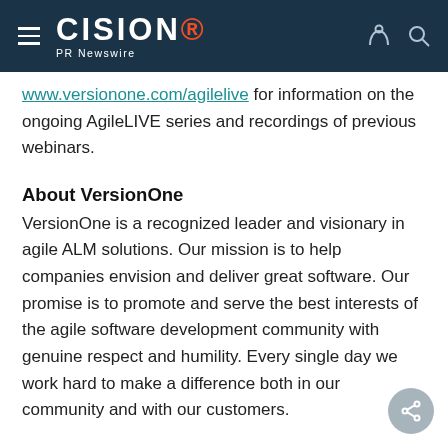CISION PR Newswire
www.versionone.com/agilelive for information on the ongoing AgileLIVE series and recordings of previous webinars.
About VersionOne
VersionOne is a recognized leader and visionary in agile ALM solutions. Our mission is to help companies envision and deliver great software. Our promise is to promote and serve the best interests of the agile software development community with genuine respect and humility. Every single day we work hard to make a difference both in our community and with our customers.